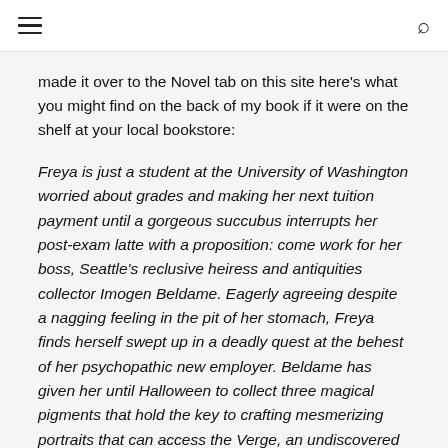☰  🔍
made it over to the Novel tab on this site here's what you might find on the back of my book if it were on the shelf at your local bookstore:
Freya is just a student at the University of Washington worried about grades and making her next tuition payment until a gorgeous succubus interrupts her post-exam latte with a proposition: come work for her boss, Seattle's reclusive heiress and antiquities collector Imogen Beldame. Eagerly agreeing despite a nagging feeling in the pit of her stomach, Freya finds herself swept up in a deadly quest at the behest of her psychopathic new employer. Beldame has given her until Halloween to collect three magical pigments that hold the key to crafting mesmerizing portraits that can access the Verge, an undiscovered borderland on the edge of human reality